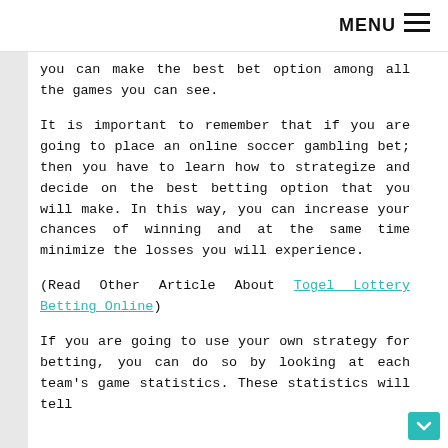MENU ☰
you can make the best bet option among all the games you can see.
It is important to remember that if you are going to place an online soccer gambling bet; then you have to learn how to strategize and decide on the best betting option that you will make. In this way, you can increase your chances of winning and at the same time minimize the losses you will experience.
(Read Other Article About Togel Lottery Betting Online)
If you are going to use your own strategy for betting, you can do so by looking at each team's game statistics. These statistics will tell